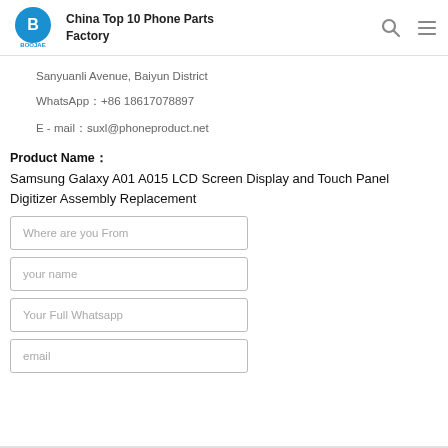China Top 10 Phone Parts Factory
Sanyuanli Avenue, Baiyun District
WhatsApp：+86 18617078897
E - mail：suxl@phoneproduct.net
Product Name：
Samsung Galaxy A01 A015 LCD Screen Display and Touch Panel Digitizer Assembly Replacement
Where are you From
your name
Your Full Whatsapp
email